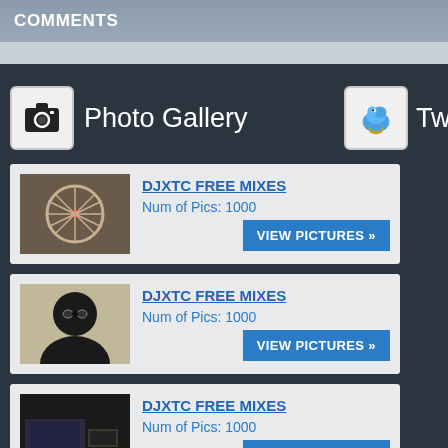COMMENTS
[Figure (screenshot): Photo Gallery section with three gallery cards each showing DJXTC FREE MIXES with Num of Pics: 1000 and VIEW PICTURES button. Twitter widget partially visible on right.]